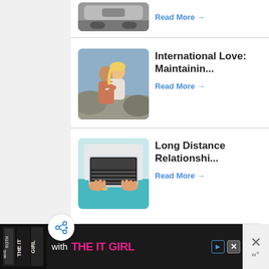[Figure (photo): Partial thumbnail of a car on a road, partially visible at top]
Read More →
[Figure (photo): Couple embracing and kissing outdoors on rocky terrain]
International Love: Maintainin...
Read More →
[Figure (photo): Person typing on a laptop, aerial view, wearing teal pants]
Long Distance Relationshi...
Read More →
[Figure (other): Share button (circular button with share icon)]
[Figure (other): Advertisement banner for 'The IT Girl' book, dark background with pink text]